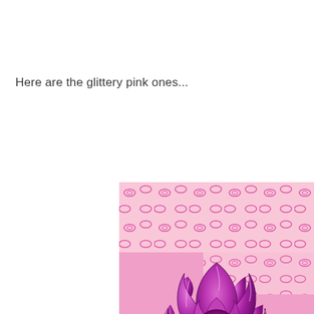Here are the glittery pink ones...
[Figure (photo): Close-up photo of a shiny magenta/purple glittery fabric flower with a pink patterned fabric (with swirl motifs) visible in the background. The flower has faceted petals with a metallic sheen.]